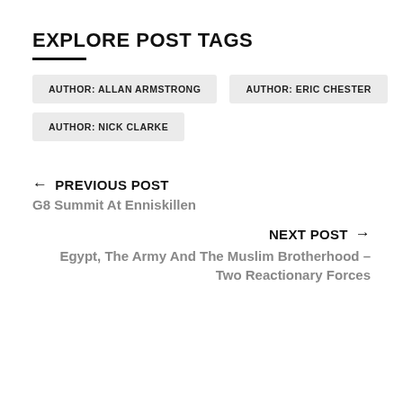EXPLORE POST TAGS
AUTHOR: ALLAN ARMSTRONG
AUTHOR: ERIC CHESTER
AUTHOR: NICK CLARKE
← PREVIOUS POST
G8 Summit At Enniskillen
NEXT POST →
Egypt, The Army And The Muslim Brotherhood – Two Reactionary Forces